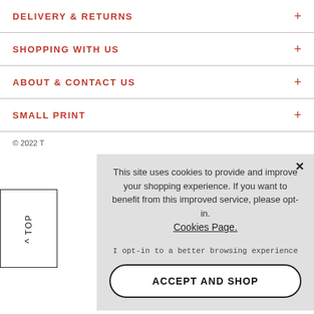DELIVERY & RETURNS
SHOPPING WITH US
ABOUT & CONTACT US
SMALL PRINT
© 2022 T
This site uses cookies to provide and improve your shopping experience. If you want to benefit from this improved service, please opt-in. Cookies Page. I opt-in to a better browsing experience
ACCEPT AND SHOP